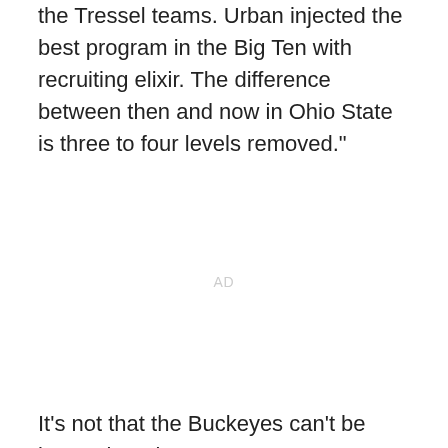the Tressel teams. Urban injected the best program in the Big Ten with recruiting elixir. The difference between then and now in Ohio State is three to four levels removed."
AD
It's not that the Buckeyes can't be beat. Five Big Ten